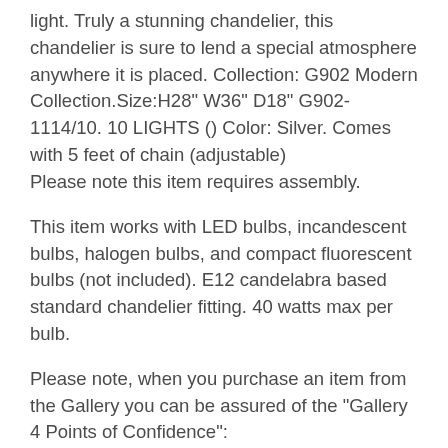light. Truly a stunning chandelier, this chandelier is sure to lend a special atmosphere anywhere it is placed. Collection: G902 Modern Collection.Size:H28" W36" D18" G902-1114/10. 10 LIGHTS () Color: Silver. Comes with 5 feet of chain (adjustable)
Please note this item requires assembly.
This item works with LED bulbs, incandescent bulbs, halogen bulbs, and compact fluorescent bulbs (not included). E12 candelabra based standard chandelier fitting. 40 watts max per bulb.
Please note, when you purchase an item from the Gallery you can be assured of the "Gallery 4 Points of Confidence": 1. Each item comes with a Certificate of Authenticity,